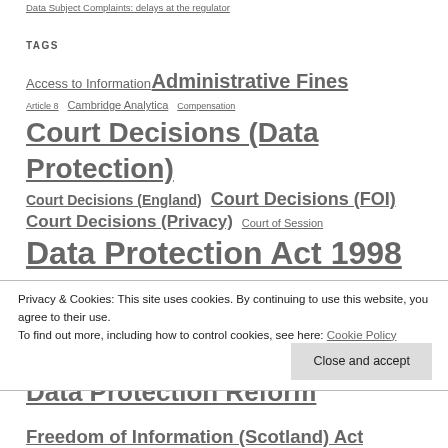Data Subject Complaints: delays at the regulator
TAGS
Access to Information Administrative Fines Article 8 Cambridge Analytica Compensation Court Decisions (Data Protection) Court Decisions (England) Court Decisions (FOI) Court Decisions (Privacy) Court of Session Data Protection Act 1998 Data Protection Act 2018 Data Protection Bill Data Protection Enforcement Data Protection Reform
Privacy & Cookies: This site uses cookies. By continuing to use this website, you agree to their use.
To find out more, including how to control cookies, see here: Cookie Policy
Close and accept
Freedom of Information (Scotland) Act